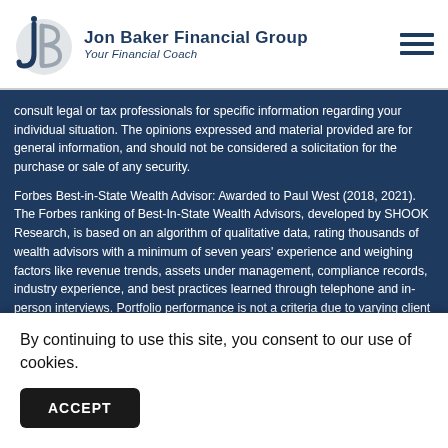Jon Baker Financial Group — Your Financial Coach
consult legal or tax professionals for specific information regarding your individual situation. The opinions expressed and material provided are for general information, and should not be considered a solicitation for the purchase or sale of any security.
Forbes Best-in-State Wealth Advisor: Awarded to Paul West (2018, 2021). The Forbes ranking of Best-In-State Wealth Advisors, developed by SHOOK Research, is based on an algorithm of qualitative data, rating thousands of wealth advisors with a minimum of seven years' experience and weighing factors like revenue trends, assets under management, compliance records, industry experience, and best practices learned through telephone and in-person interviews. Portfolio performance is not a criteria due to varying client objectives and lack of audited data. Neither Forbes nor SHOOK receive a fee in exchange for rankings. Research summary as of 37,725 nominations received, based on thresholds – 15,954 invited to complete on... Ad... r aw... t be...
By continuing to use this site, you consent to our use of cookies.